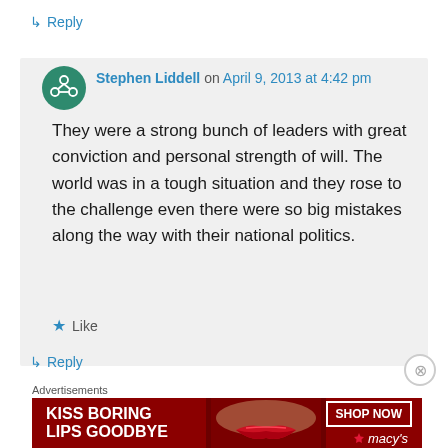↳ Reply
[Figure (illustration): User avatar icon — circular green badge with white network/people symbol]
Stephen Liddell on April 9, 2013 at 4:42 pm
They were a strong bunch of leaders with great conviction and personal strength of will. The world was in a tough situation and they rose to the challenge even there were so big mistakes along the way with their national politics.
★ Like
↳ Reply
Advertisements
[Figure (advertisement): Macy's ad banner — dark red background, text 'KISS BORING LIPS GOODBYE', 'SHOP NOW' button, Macy's star logo, woman's face with red lips]
⊗